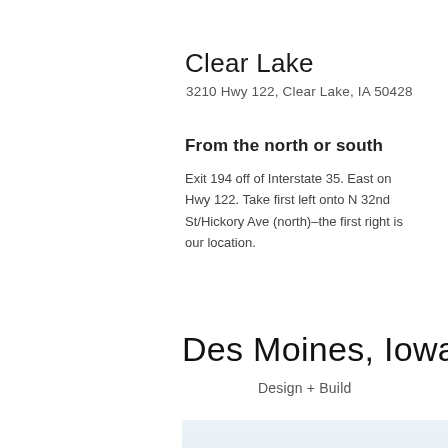Clear Lake
3210 Hwy 122, Clear Lake, IA 50428
From the north or south
Exit 194 off of Interstate 35. East on Hwy 122. Take first left onto N 32nd St/Hickory Ave (north)–the first right is our location.
Des Moines, Iowa
Design + Build
[Figure (photo): Light blue-grey building exterior photo, partially visible at bottom of page]
[Figure (other): Dark circular scroll-to-top button with upward chevron icon]
[Figure (other): Bottom navigation bar with phone icon (green) and menu/list icon (purple/blue)]